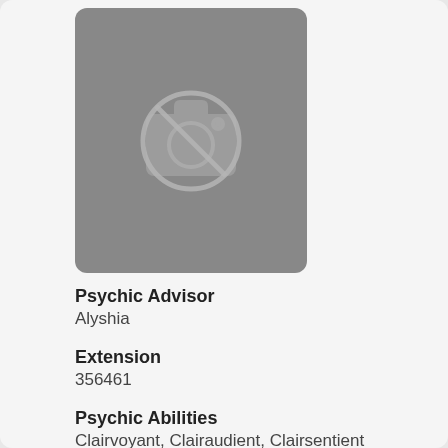[Figure (photo): Placeholder image with a camera icon with a slash through it, indicating no photo available, on a gray rounded rectangle background.]
Psychic Advisor
Alyshia
Extension
356461
Psychic Abilities
Clairvoyant, Clairaudient, Clairsentient